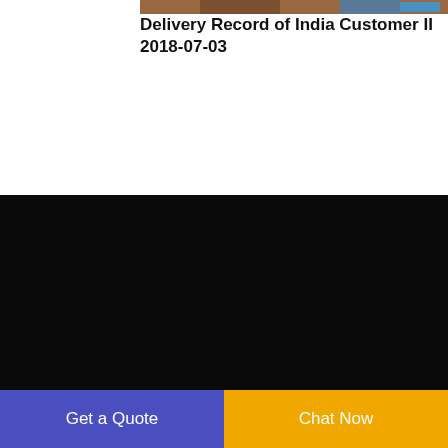[Figure (photo): Photo of delivery trucks or industrial equipment, partial view at top of page]
Delivery Record of India Customer II
2018-07-03
Recent Work
[Figure (photo): Thumbnail photo of small copper wire granules/pellets in a hand]
Copper Wire Recycling Machine Test for Malaysia Customer